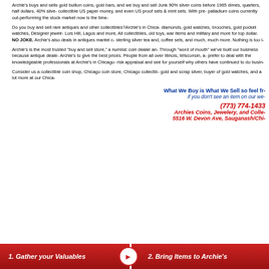Archie's buys and sells gold bullion coins, gold bars, and we buy and sell Junk 90% silver coins before 1965 dimes, quarters, half dollars, 40% silver collectible US paper money, and even US proof sets & mint sets. With pre- palladium coins currently out-performing the stock market now is the time-
Do you buy and sell rare antiques and other collectibles?Archie's in Chica- diamonds, gold watches, brooches, gold pocket watches, Designer jewelr- Lois Hill, Lagos and more, All collectibles, old toys, war items and military and more for top dollar. NO JOKE. Archie's also deals in antiques mantel c- sterling silver tea and, coffee sets, and much, much more. Nothing is too l-
Archie's is the most trusted "buy and sell store," a numisic coin dealer an- Through "word of mouth" we've built our business because antique deale- Archie's to give the best prices. People from all over Illinois, Wisconsin, a- prefer to deal with the knowledgeable professionals at Archie's in Chicago- risk appraisal and see for yourself why others have continued to do busin-
Consider us a collectible coin shop, Chicago coin store, Chicago collectib- gold and scrap silver, buyer of gold watches, and a lot more at our Chica-
What We Buy is What We Sell so feel fr- if you don't see an item on our we-
(773) 774-1433
Archies Coins, Jewelery, and Colle-
5516 W. Devon Ave, Sauganash/Chi-
1. Gather your Valuables
2. Bring Items to Archie's